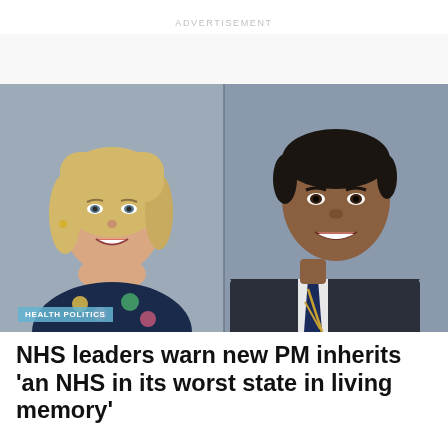ADVERTISEMENT
[Figure (photo): Side-by-side official parliamentary portrait photos of two politicians: on the left, a blonde woman smiling, wearing a colourful floral top; on the right, a younger South Asian man smiling, wearing a dark suit with a striped tie. Both set against a grey-blue studio background.]
HEALTH POLITICS
NHS leaders warn new PM inherits 'an NHS in its worst state in living memory'